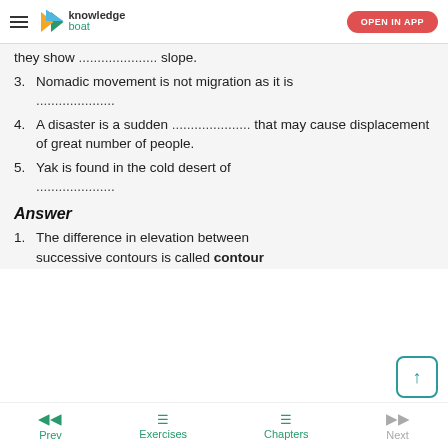knowledge boat | OPEN IN APP
they show ..................... slope.
3. Nomadic movement is not migration as it is .....................
4. A disaster is a sudden ..................... that may cause displacement of great number of people.
5. Yak is found in the cold desert of .....................
Answer
1. The difference in elevation between successive contours is called contour
Prev | Exercises | Chapters | Next